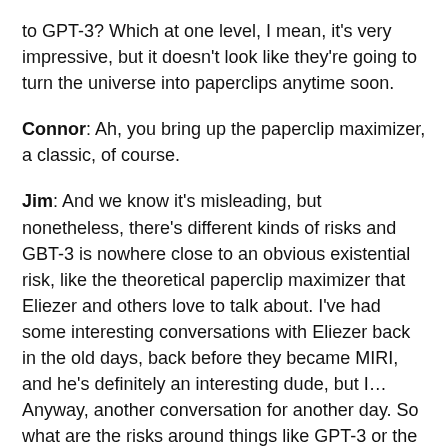to GPT-3? Which at one level, I mean, it's very impressive, but it doesn't look like they're going to turn the universe into paperclips anytime soon.
Connor: Ah, you bring up the paperclip maximizer, a classic, of course.
Jim: And we know it's misleading, but nonetheless, there's different kinds of risks and GBT-3 is nowhere close to an obvious existential risk, like the theoretical paperclip maximizer that Eliezer and others love to talk about. I've had some interesting conversations with Eliezer back in the old days, back before they became MIRI, and he's definitely an interesting dude, but I… Anyway, another conversation for another day. So what are the risks around things like GPT-3 or the misalignments with the good of humanity?
Connor: So they ai to concerns this thing. The...